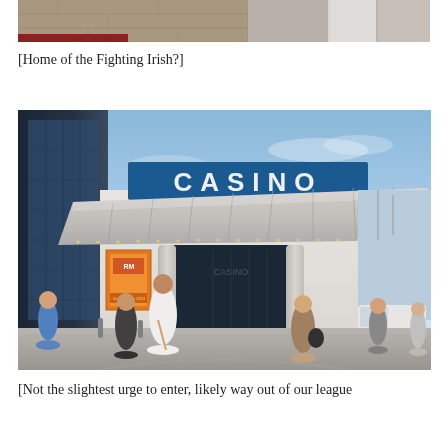[Figure (photo): Top portion of a photo showing a stone wall and a white pillar/column, with a red/maroon brick area at bottom left]
[Home of the Fighting Irish?]
[Figure (photo): Photo of a Casino building exterior with a large blue CASINO sign on the canopy, a dark glass tower on the left, pillars at the entrance, an orange poster/sign on the left facade, and people walking in front. A white van is visible on the right side.]
[Not the slightest urge to enter, likely way out of our league